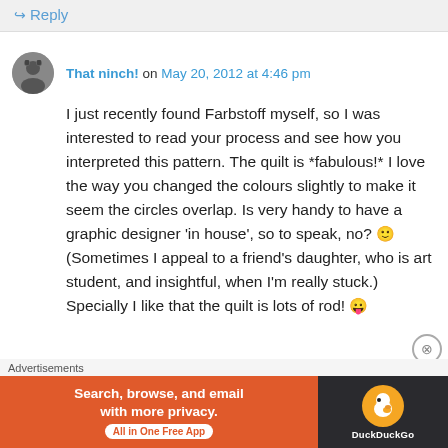↪ Reply
That ninch! on May 20, 2012 at 4:46 pm
I just recently found Farbstoff myself, so I was interested to read your process and see how you interpreted this pattern. The quilt is *fabulous!* I love the way you changed the colours slightly to make it seem the circles overlap. Is very handy to have a graphic designer 'in house', so to speak, no? 🙂 (Sometimes I appeal to a friend's daughter, who is art student, and insightful, when I'm really stuck.) Specially I like that the quilt is lots of rod! 😛
Advertisements
[Figure (other): DuckDuckGo advertisement banner: Search, browse, and email with more privacy. All in One Free App. DuckDuckGo logo on dark background.]